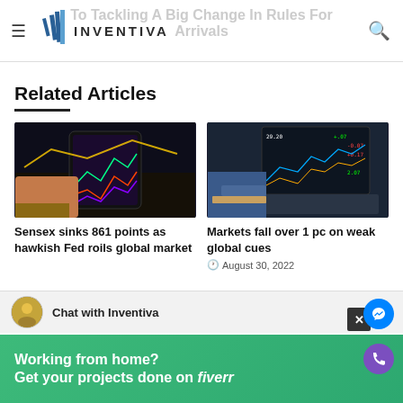Inventiva — To Tackling A Big Change In Rules For Arrivals
Related Articles
[Figure (photo): Person holding a smartphone displaying colorful stock market charts and graphs with rising/falling lines]
[Figure (photo): People typing on laptop keyboards with stock market data displayed on screen in background]
Sensex sinks 861 points as hawkish Fed roils global market
Markets fall over 1 pc on weak global cues
August 30, 2022
Chat with Inventiva
Working from home?
Get your projects done on fiverr